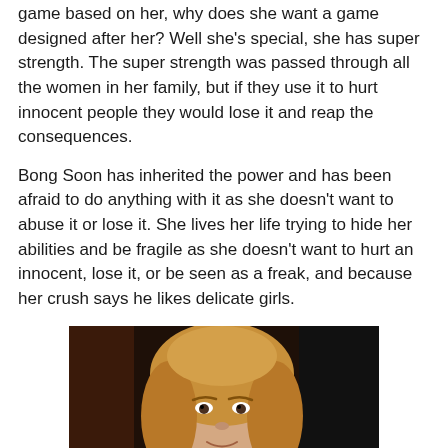game based on her, why does she want a game designed after her? Well she's special, she has super strength. The super strength was passed through all the women in her family, but if they use it to hurt innocent people they would lose it and reap the consequences.
Bong Soon has inherited the power and has been afraid to do anything with it as she doesn't want to abuse it or lose it. She lives her life trying to hide her abilities and be fragile as she doesn't want to hurt an innocent, lose it, or be seen as a freak, and because her crush says he likes delicate girls.
[Figure (photo): A woman with curly blonde hair smiling slightly, with a dark background; appears to be a screenshot from a TV show or film.]